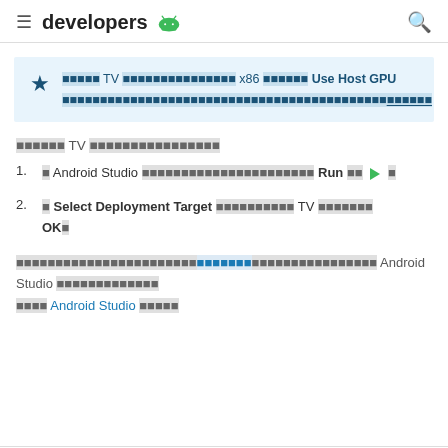developers [Android logo]
[Star icon] xxxxxxx TV xxxxxxxxxxxxxxxxxx x86 xxxxxxx Use Host GPU xxxxxxxxxxxxxxxxxxxxxxxxxxxxxxxxxxxxxxxxxxxxxxxxxxxxxxxx [link]
xxxxxx TV xxxxxxxxxxxxxxxxx
ใ Android Studio xxxxxxxxxxxxxxxxxxxxxxxxxx Run xx ▶ ใ
ใ Select Deployment Target xxxxxxxxxx TV xxxxxxxx OKใ
xxxxxxxxxxxxxxxxxxxxxxxxxxxxxxx Android Studio xxxxxxxxxxxx xxxx Android Studio xxxxxx